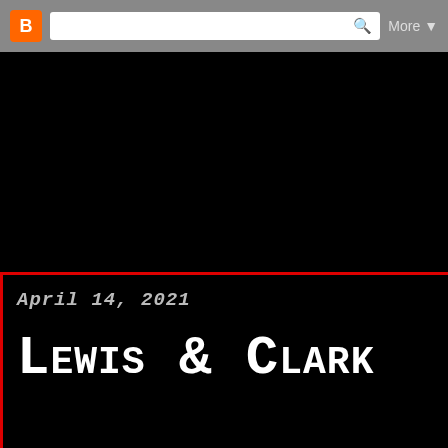[Figure (screenshot): Browser navigation bar with Blogger orange icon, search box with magnifying glass icon, and 'More' dropdown button on grey background]
The Hoga
The Writings of Alexand
April 14, 2021
Lewis & Clark